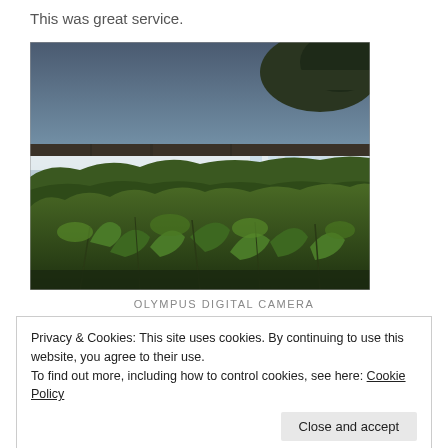This was great service.
[Figure (photo): A landscape photo of a waterfall (likely Iguazu Falls) with lush green tropical vegetation in the foreground and misty waterfalls in the background under a blue-grey sky.]
OLYMPUS DIGITAL CAMERA
Privacy & Cookies: This site uses cookies. By continuing to use this website, you agree to their use.
To find out more, including how to control cookies, see here: Cookie Policy
Close and accept